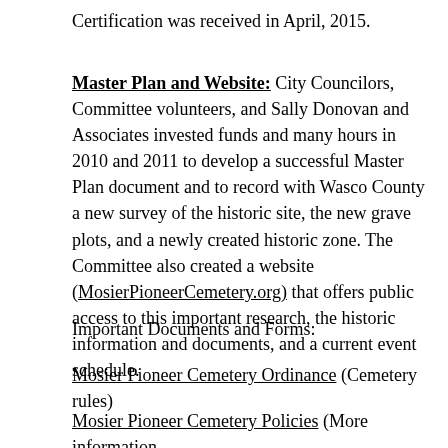Certification was received in April, 2015.
Master Plan and Website: City Councilors, Committee volunteers, and Sally Donovan and Associates invested funds and many hours in 2010 and 2011 to develop a successful Master Plan document and to record with Wasco County a new survey of the historic site, the new grave plots, and a newly created historic zone. The Committee also created a website (MosierPioneerCemetery.org) that offers public access to this important research, the historic information and documents, and a current event schedule.
Important Documents and Forms:
Mosier Pioneer Cemetery Ordinance (Cemetery rules)
Mosier Pioneer Cemetery Policies (More information about...in the Pioneer Cemetery.)